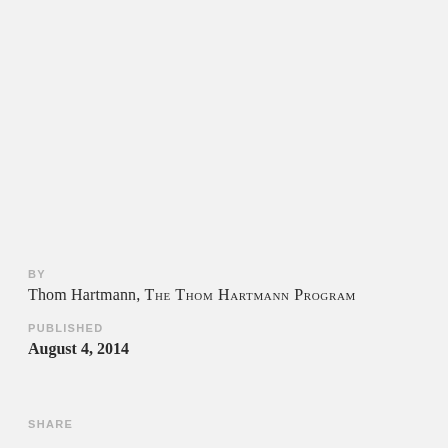BY
Thom Hartmann, The Thom Hartmann Program
PUBLISHED
August 4, 2014
SHARE